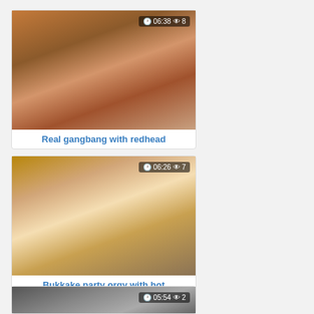[Figure (photo): Video thumbnail showing adult content with duration badge 06:38 and view count 8]
Real gangbang with redhead
[Figure (photo): Video thumbnail showing adult content with duration badge 06:26 and view count 7]
Bukkake party orgy with hot
[Figure (photo): Video thumbnail showing adult content with duration badge 05:54 and view count 2]